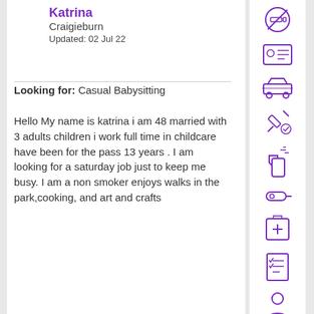Katrina
Craigieburn
Updated: 02 Jul 22
Looking for: Casual Babysitting
Hello My name is katrina i am 48 married with 3 adults children i work full time in childcare have been for the pass 13 years . I am looking for a saturday job just to keep me busy. I am a non smoker enjoys walks in the park,cooking, and art and crafts
[Figure (illustration): Sidebar with purple icons: no smoking, ID card, car, syringe with checkmark, spray bottle, pen/pencil, first aid kit, checklist, person]